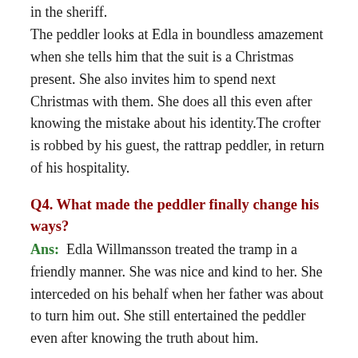in the sheriff. The peddler looks at Edla in boundless amazement when she tells him that the suit is a Christmas present. She also invites him to spend next Christmas with them. She does all this even after knowing the mistake about his identity. The crofter is robbed by his guest, the rattrap peddler, in return of his hospitality.
Q4. What made the peddler finally change his ways?
Ans: Edla Willmansson treated the tramp in a friendly manner. She was nice and kind to her. She interceded on his behalf when her father was about to turn him out. She still entertained the peddler even after knowing the truth about him.